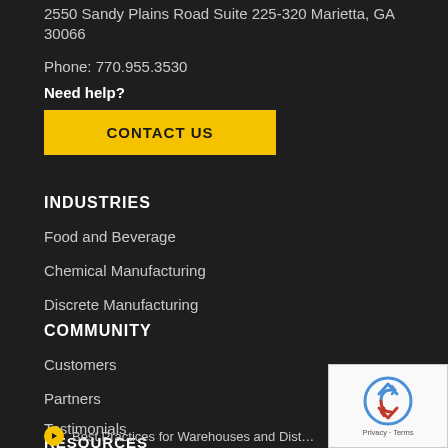2550 Sandy Plains Road Suite 225-320 Marietta, GA 30066
Phone: 770.955.3530
Need help?
CONTACT US
INDUSTRIES
Food and Beverage
Chemical Manufacturing
Discrete Manufacturing
COMMUNITY
Customers
Partners
Testimonials
RESOURCES
Best Practices for Warehouses and Distribution Centers